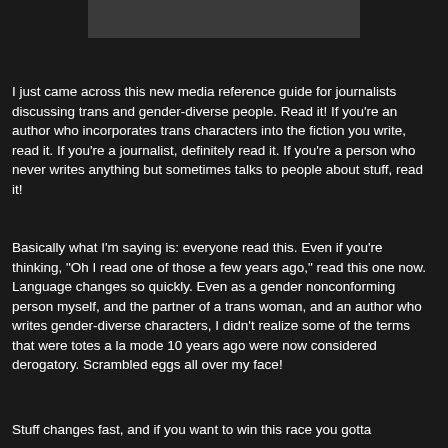[Figure (other): Dark gray rectangular image/banner at top of page]
I just came across this new media reference guide for journalists discussing trans and gender-diverse people. Read it! If you're an author who incorporates trans characters into the fiction you write, read it. If you're a journalist, definitely read it. If you're a person who never writes anything but sometimes talks to people about stuff, read it!
Basically what I'm saying is: everyone read this. Even if you're thinking, "Oh I read one of those a few years ago," read this one now. Language changes so quickly. Even as a gender nonconforming person myself, and the partner of a trans woman, and an author who writes gender-diverse characters, I didn't realize some of the terms that were totes a la mode 10 years ago were now considered derogatory. Scrambled eggs all over my face!
Stuff changes fast, and if you want to win this race you gotta